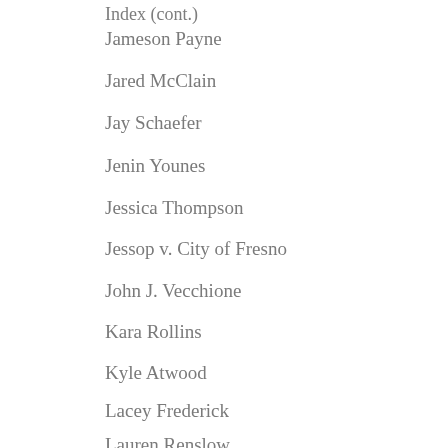Jameson Payne
Jared McClain
Jay Schaefer
Jenin Younes
Jessica Thompson
Jessop v. City of Fresno
John J. Vecchione
Kara Rollins
Kyle Atwood
Lacey Frederick
Lauren Renslow
Lunch & Law Speaker Series